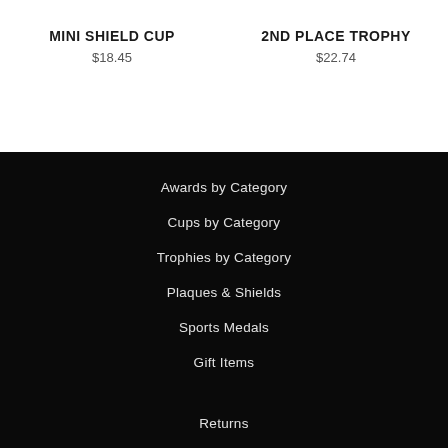MINI SHIELD CUP
$18.45
2ND PLACE TROPHY
$22.74
Awards by Category
Cups by Category
Trophies by Category
Plaques & Shields
Sports Medals
Gift Items
Returns
Delivery